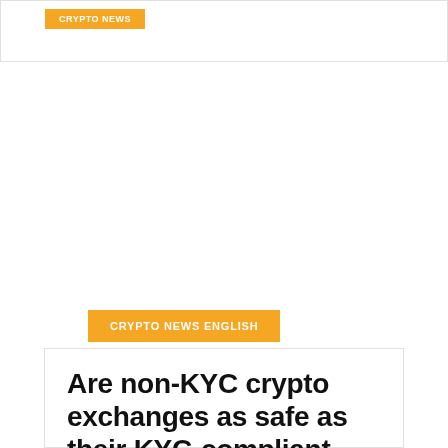[Figure (other): Orange tag/badge at top of a card, partially visible]
CRYPTO NEWS ENGLISH
Are non-KYC crypto exchanges as safe as their KYC-compliant peers?